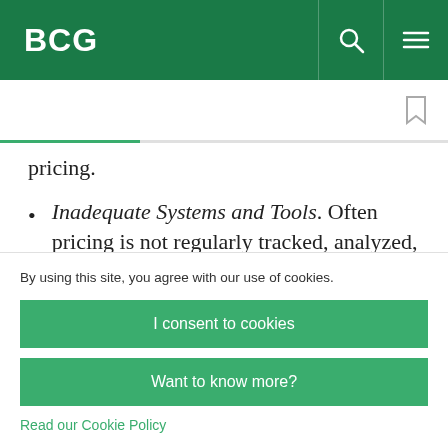BCG
pricing.
Inadequate Systems and Tools. Often pricing is not regularly tracked, analyzed, and managed. Most retailers have plenty of data, but inadequacies in IT and analytics often thwart
By using this site, you agree with our use of cookies.
I consent to cookies
Want to know more?
Read our Cookie Policy